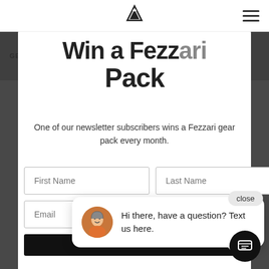GEOMETRY   SPECS   CONFIGURE NOW
Win a Fezzari Pack
One of our newsletter subscribers wins a Fezzari gear pack every month.
[Figure (screenshot): Web form with First Name and Last Name input fields, an Email field, and a dark submit button]
[Figure (screenshot): Chat popup with avatar photo of a man in a helmet, text: Hi there, have a question? Text us here. With a close button and chat icon button.]